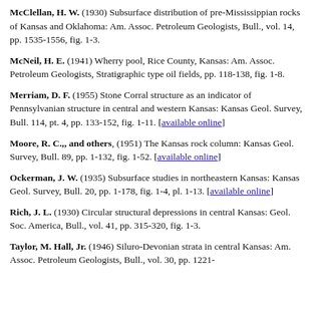McClellan, H. W. (1930) Subsurface distribution of pre-Mississippian rocks of Kansas and Oklahoma: Am. Assoc. Petroleum Geologists, Bull., vol. 14, pp. 1535-1556, fig. 1-3.
McNeil, H. E. (1941) Wherry pool, Rice County, Kansas: Am. Assoc. Petroleum Geologists, Stratigraphic type oil fields, pp. 118-138, fig. 1-8.
Merriam, D. F. (1955) Stone Corral structure as an indicator of Pennsylvanian structure in central and western Kansas: Kansas Geol. Survey, Bull. 114, pt. 4, pp. 133-152, fig. 1-11. [available online]
Moore, R. C.,, and others, (1951) The Kansas rock column: Kansas Geol. Survey, Bull. 89, pp. 1-132, fig. 1-52. [available online]
Ockerman, J. W. (1935) Subsurface studies in northeastern Kansas: Kansas Geol. Survey, Bull. 20, pp. 1-178, fig. 1-4, pl. 1-13. [available online]
Rich, J. L. (1930) Circular structural depressions in central Kansas: Geol. Soc. America, Bull., vol. 41, pp. 315-320, fig. 1-3.
Taylor, M. Hall, Jr. (1946) Siluro-Devonian strata in central Kansas: Am. Assoc. Petroleum Geologists, Bull., vol. 30, pp. 1221-